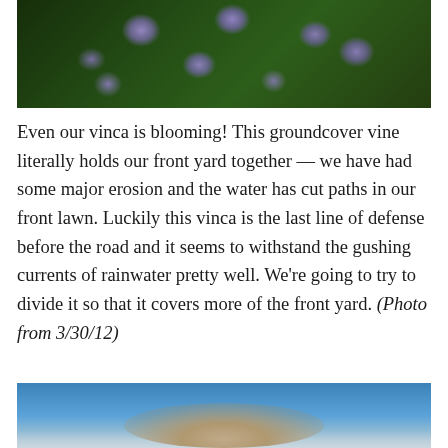[Figure (photo): Close-up photograph of purple vinca flowers with green leaves in the background]
Even our vinca is blooming!  This groundcover vine literally holds our front yard together — we have had some major erosion and the water has cut paths in our front lawn.  Luckily this vinca is the last line of defense before the road and it seems to withstand the gushing currents of rainwater pretty well.  We're going to try to divide it so that it covers more of the front yard.  (Photo from 3/30/12)
[Figure (photo): Photograph showing a blue sky with a blurred landscape or object in the foreground]